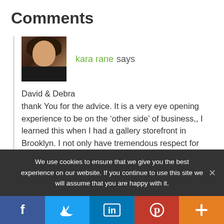Comments
kara rane says
David & Debra
thank You for the advice. It is a very eye opening experience to be on the ‘other side’ of business,, I learned this when I had a gallery storefront in Brooklyn. I not only have tremendous respect for artists (i am one*!) but for retail shop owners who dedicate themselves to showcasing
We use cookies to ensure that we give you the best experience on our website. If you continue to use this site we will assume that you are happy with it.